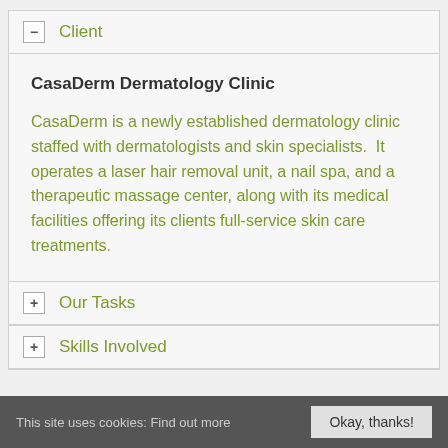Client
CasaDerm Dermatology Clinic
CasaDerm is a newly established dermatology clinic staffed with dermatologists and skin specialists. It operates a laser hair removal unit, a nail spa, and a therapeutic massage center, along with its medical facilities offering its clients full-service skin care treatments.
Our Tasks
Skills Involved
This site uses cookies: Find out more  Okay, thanks!